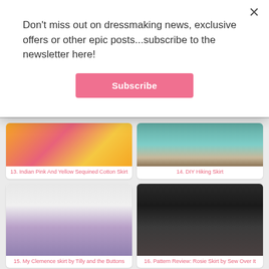Don't miss out on dressmaking news, exclusive offers or other epic posts...subscribe to the newsletter here!
Subscribe
13. Indian Pink And Yellow Sequined Cotton Skirt
14. DIY Hiking Skirt
15. My Clemence skirt by Tilly and the Buttons
16. Pattern Review: Rosie Skirt by Sew Over It